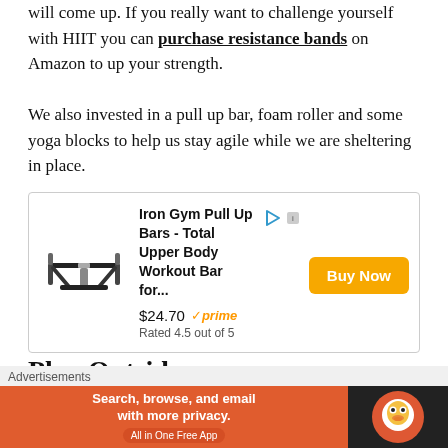will come up. If you really want to challenge yourself with HIIT you can purchase resistance bands on Amazon to up your strength.
We also invested in a pull up bar, foam roller and some yoga blocks to help us stay agile while we are sheltering in place.
[Figure (other): Amazon advertisement box for Iron Gym Pull Up Bars - Total Upper Body Workout Bar for... priced at $24.70 with Amazon Prime checkmark, rated 4.5 out of 5, with a Buy Now orange button and product image of a pull-up bar.]
Play Outside
Advertisements
[Figure (other): DuckDuckGo advertisement banner: orange left side with text 'Search, browse, and email with more privacy. All in One Free App' and dark right side with DuckDuckGo logo.]